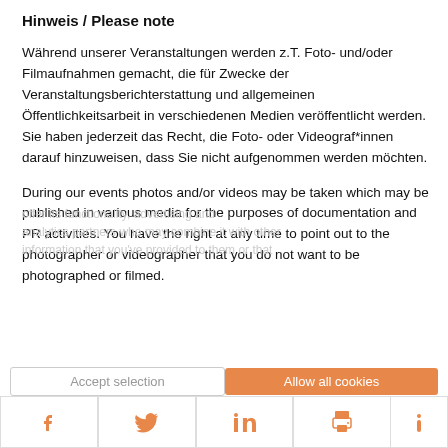Hinweis / Please note
Während unserer Veranstaltungen werden z.T. Foto- und/oder Filmaufnahmen gemacht, die für Zwecke der Veranstaltungsberichterstattung und allgemeinen Öffentlichkeitsarbeit in verschiedenen Medien veröffentlicht werden. Sie haben jederzeit das Recht, die Foto- oder Videograf*innen darauf hinzuweisen, dass Sie nicht aufgenommen werden möchten.
During our events photos and/or videos may be taken which may be published in various media for the purposes of documentation and PR activities. You have the right at any time to point out to the photographer or videographer that you do not want to be photographed or filmed.